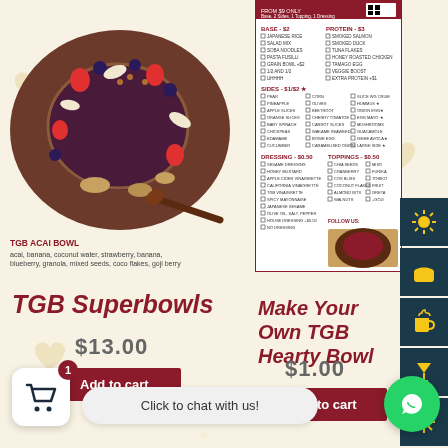[Figure (photo): Heart-shaped bowl with acai, strawberries, blueberries, granola, coconut, and mixed seeds on a light background]
TGB ACAI BOWL
acai, banana, coconut water, strawberry, banana, blueberry, granola, mixed seeds, coco flakes, goji berry
[Figure (photo): TGB restaurant menu showing Base, Protein, Sides, Dressing, and Toppings options with checkboxes and prices]
TGB Superbowls
$13.00
Add to cart
Make Your Own TGB Hearty Bowl
$1.00
Add to cart
Click to chat with us!